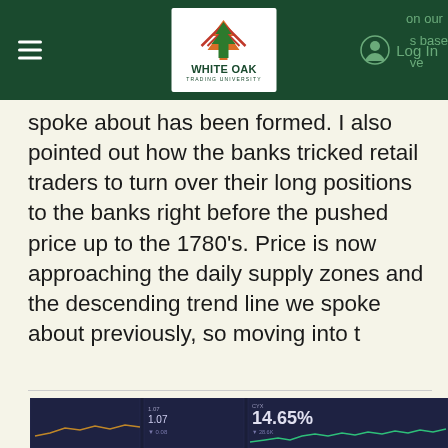White Oak Trading University — navigation bar with logo, hamburger menu, Log In
on our base ve spoke about has been formed. I also pointed out how the banks tricked retail traders to turn over their long positions to the banks right before the pushed price up to the 1780's. Price is now approaching the daily supply zones and the descending trend line we spoke about previously, so moving into t
[Figure (screenshot): Trading dashboard screenshot showing financial metrics including 14.65% value displayed on dark blue screens with small line charts]